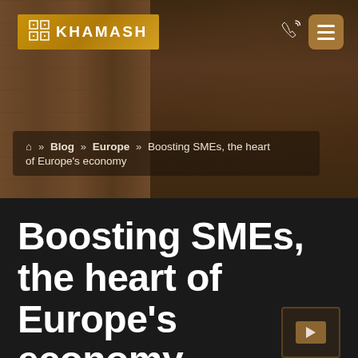[Figure (screenshot): Khamash website header with hero background image of wooden shelves with plants, showing logo, phone icon, hamburger menu, and breadcrumb navigation]
🏠 » Blog » Europe » Boosting SMEs, the heart of Europe's economy
Boosting SMEs, the heart of Europe's economy